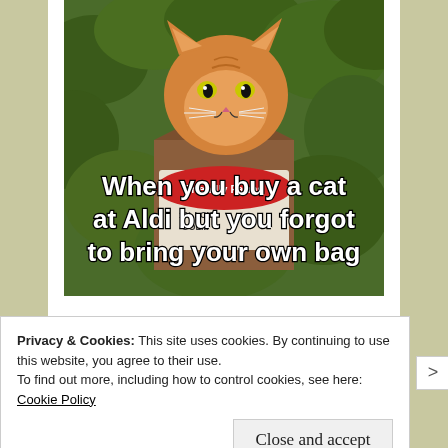[Figure (photo): A meme photo of an orange cat sitting inside a brown Friendly Farms 1% Low Fat milk carton box, surrounded by green plants/grass. White bold text overlay reads: 'When you buy a cat at Aldi but you forgot to bring your own bag']
Privacy & Cookies: This site uses cookies. By continuing to use this website, you agree to their use.
To find out more, including how to control cookies, see here: Cookie Policy
Close and accept